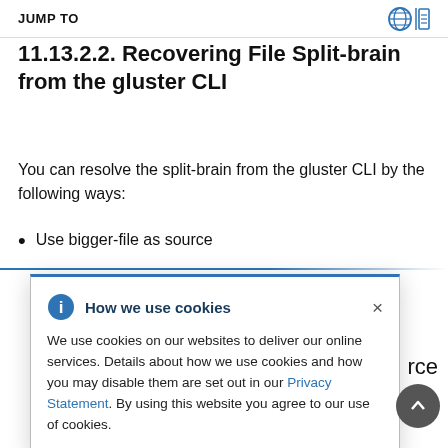JUMP TO
11.13.2.2. Recovering File Split-brain from the gluster CLI
You can resolve the split-brain from the gluster CLI by the following ways:
Use bigger-file as source
[Figure (infographic): Cookie consent popup overlay with title 'How we use cookies', info icon, close X button, body text about cookie usage and Privacy Statement link.]
...rce (partially hidden)
...ular file (partially hidden)
Note (partially visible at bottom)